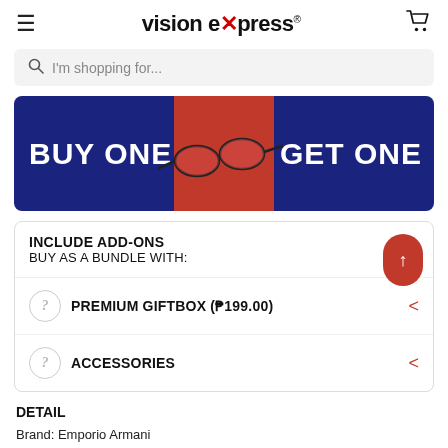vision express®
I'm shopping for...
[Figure (infographic): Buy One Get One promotional banner with dark navy blue background and red center section showing eyeglasses image. White bold text reads 'BUY ONE' on left and 'GET ONE' on right.]
INCLUDE ADD-ONS
BUY AS A BUNDLE WITH:
PREMIUM GIFTBOX (₱199.00)
ACCESSORIES
DETAIL
Brand: Emporio Armani
Gender: Men